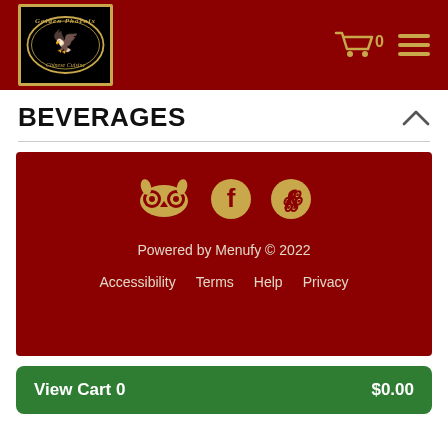[Figure (logo): Golden Phoenix Chinese Cuisine logo — black background with gold oval border, stylized phoenix graphic, text 'Golden Phoenix' and 'Chinese Cuisine']
BEVERAGES
[Figure (infographic): Dark red footer box with TripAdvisor owl, Facebook, and Yelp social icons in gold, 'Powered by Menufy © 2022' text, and links: Accessibility, Terms, Help, Privacy]
View Cart 0  $0.00